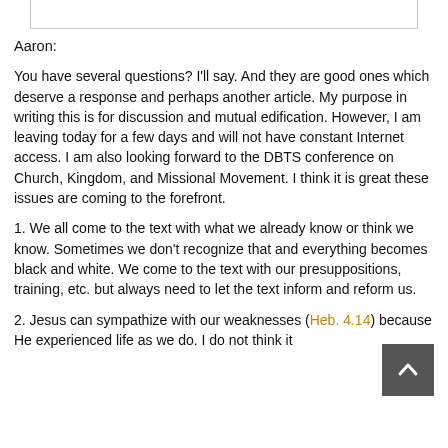[Figure (other): Top image bar / header image partially visible at top of page]
Aaron:
You have several questions? I'll say. And they are good ones which deserve a response and perhaps another article. My purpose in writing this is for discussion and mutual edification. However, I am leaving today for a few days and will not have constant Internet access. I am also looking forward to the DBTS conference on Church, Kingdom, and Missional Movement. I think it is great these issues are coming to the forefront.
1. We all come to the text with what we already know or think we know. Sometimes we don't recognize that and everything becomes black and white. We come to the text with our presuppositions, training, etc. but always need to let the text inform and reform us.
2. Jesus can sympathize with our weaknesses (Heb. 4.14) because He experienced life as we do. I do not think it